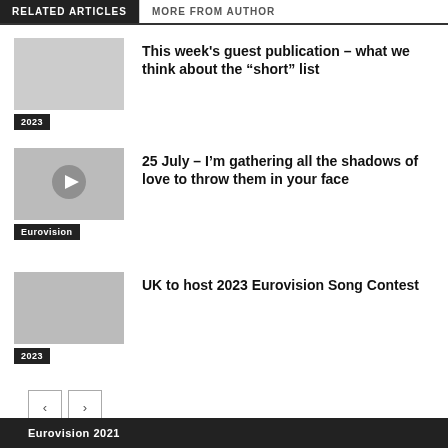RELATED ARTICLES | MORE FROM AUTHOR
This week's guest publication – what we think about the “short” list
2023
25 July – I’m gathering all the shadows of love to throw them in your face
Eurovision
UK to host 2023 Eurovision Song Contest
2023
< >
Eurovision 2021